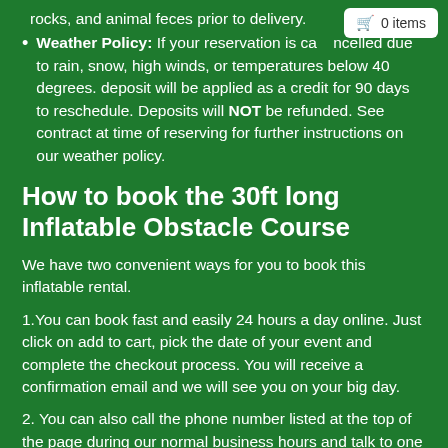rocks, and animal feces prior to delivery.
Weather Policy: If your reservation is cancelled due to rain, snow, high winds, or temperatures below 40 degrees. deposit will be applied as a credit for 90 days to reschedule. Deposits will NOT be refunded. See contract at time of reserving for further instructions on our weather policy.
How to book the 30ft long Inflatable Obstacle Course
We have two convenient ways for you to book this inflatable rental.
1.You can book fast and easily 24 hours a day online. Just click on add to cart, pick the date of your event and complete the checkout process. You will receive a confirmation email and we will see you on your big day.
2. You can also call the phone number listed at the top of the page during our normal business hours and talk to one of our trained party planners and they will be happy to answer any questions you may have and help you book a spectacular event.